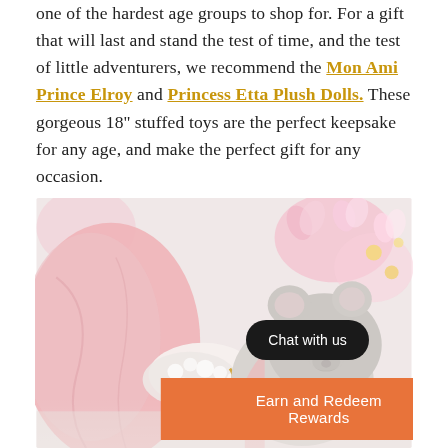one of the hardest age groups to shop for. For a gift that will last and stand the test of time, and the test of little adventurers, we recommend the Mon Ami Prince Elroy and Princess Etta Plush Dolls. These gorgeous 18'' stuffed toys are the perfect keepsake for any age, and make the perfect gift for any occasion.
[Figure (photo): Close-up photo of a grey plush mouse stuffed animal wearing a pink dress with fluffy white cuffs, lying on a soft surface with pastel pink and yellow decorative elements in the background. An orange 'Earn and Redeem Rewards' button and a dark 'Chat with us' button overlay the bottom of the image.]